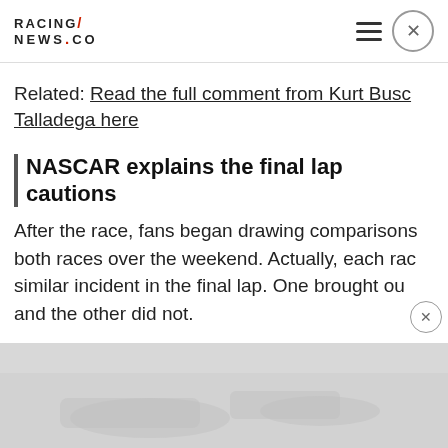RACING NEWS.CO
Related: Read the full comment from Kurt Busch on Talladega here
NASCAR explains the final lap cautions
After the race, fans began drawing comparisons between both races over the weekend. Actually, each race had a similar incident in the final lap. One brought out caution, and the other did not.
[Figure (photo): Grey placeholder ad area at bottom of page, showing a faint racing/track image in the background]